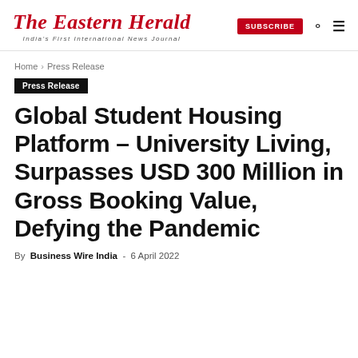The Eastern Herald — India's First International News Journal
Home › Press Release
Press Release
Global Student Housing Platform – University Living, Surpasses USD 300 Million in Gross Booking Value, Defying the Pandemic
By Business Wire India - 6 April 2022